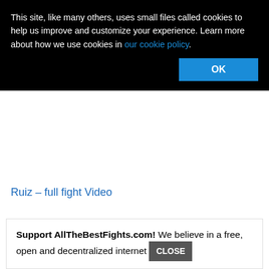This site, like many others, uses small files called cookies to help us improve and customize your experience. Learn more about how we use cookies in our cookie policy.
OK
Ruiz – full fight Video
Boxing , Boxing videos
Enrico Koelling fight videos , Ryno Liebenberg fight videos
Support AllTheBestFights.com! We believe in a free, open and decentralized internet
CLOSE